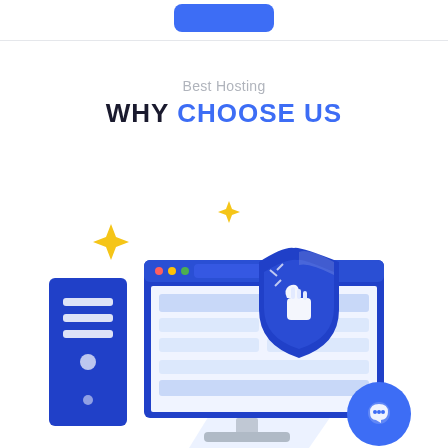[Figure (illustration): Blue rounded rectangle button at top center of page]
Best Hosting
WHY CHOOSE US
[Figure (illustration): Web hosting illustration showing a blue server tower on the left, a desktop monitor displaying a browser window with a website interface in the center, a blue shield with thumbs-up icon overlapping the monitor on the right, decorative gold/yellow sparkle diamond shapes in the background, and a blue circle chat bubble icon in the bottom right corner.]